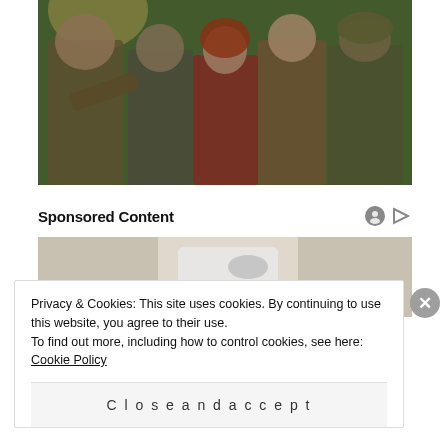[Figure (photo): Movie still showing four characters in jungle/adventure costumes standing together, from what appears to be Jumanji: Welcome to the Jungle]
Sponsored Content
[Figure (photo): Partial photo of a person in a white lab coat/doctor's coat, cropped at top of frame]
Privacy & Cookies: This site uses cookies. By continuing to use this website, you agree to their use.
To find out more, including how to control cookies, see here: Cookie Policy
Close and accept